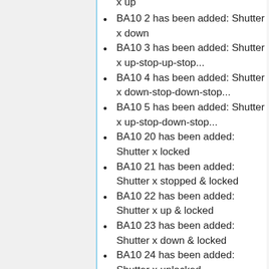x up
BA10 2 has been added: Shutter x down
BA10 3 has been added: Shutter x up-stop-up-stop...
BA10 4 has been added: Shutter x down-stop-down-stop...
BA10 5 has been added: Shutter x up-stop-down-stop...
BA10 20 has been added: Shutter x locked
BA10 21 has been added: Shutter x stopped & locked
BA10 22 has been added: Shutter x up & locked
BA10 23 has been added: Shutter x down & locked
BA10 24 has been added: Shutter x unlocked
BA10 100 has been added: